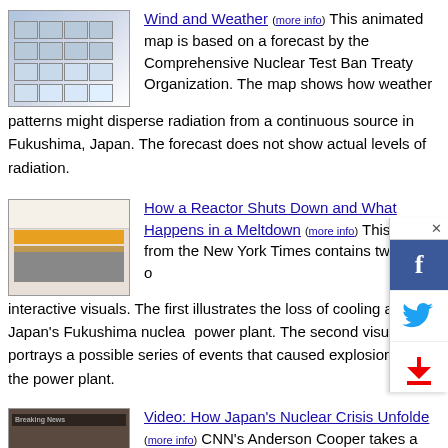[Figure (screenshot): Thumbnail screenshot of a wind and weather animated map]
Wind and Weather (more info) This animated map is based on a forecast by the Comprehensive Nuclear Test Ban Treaty Organization. The map shows how weather patterns might disperse radiation from a continuous source in Fukushima, Japan. The forecast does not show actual levels of radiation.
[Figure (screenshot): Thumbnail screenshot of a reactor shutdown interactive page from New York Times]
How a Reactor Shuts Down and What Happens in a Meltdown (more info) This page from the New York Times contains two sets of interactive visuals. The first illustrates the loss of cooling at Japan's Fukushima nuclear power plant. The second visual portrays a possible series of events that caused explosions at the power plant.
[Figure (screenshot): Thumbnail screenshot of CNN video on Japan's nuclear crisis]
Video: How Japan's Nuclear Crisis Unfolded (more info) CNN's Anderson Cooper takes a look back at how troubles at a Japanese nuclear plant have unfolded. This synopsis begins